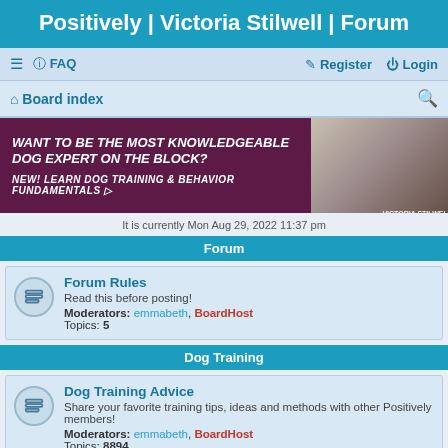Positively | Victoria Stilwell | Forum
☰  FAQ   Register  Login
Board index
[Figure (infographic): Advertisement banner: dark purple left side with text 'WANT TO BE THE MOST KNOWLEDGEABLE DOG EXPERT ON THE BLOCK? NEW! LEARN DOG TRAINING & BEHAVIOR FUNDAMENTALS' and right side showing a dog photo with Victoria Stilwell logo]
It is currently Mon Aug 29, 2022 11:37 pm
Forum
| Forum Rules | Read this before posting! | Moderators: emmabeth, BoardHost | Topics: 5 |
Dog Training
| Dog Training Advice | Share your favorite training tips, ideas and methods with other Positively members! | Moderators: emmabeth, BoardHost | Topics: 8894 |
| Training Tools | Discussion of useful training and pet care tools. |